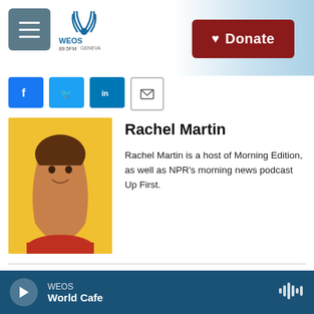[Figure (screenshot): WEOS radio station logo with radio wave graphics]
[Figure (other): Red donate button with heart icon]
[Figure (other): Social media share buttons: Facebook, Twitter, LinkedIn, and email]
[Figure (photo): Rachel Martin headshot photo on yellow background, woman with brown hair wearing red top, smiling]
Rachel Martin
Rachel Martin is a host of Morning Edition, as well as NPR's morning news podcast Up First.
James Doubek
James Doubek is an associate editor and reporter for
[Figure (other): WEOS audio player bar showing World Cafe program with play button and audio waveform icon]